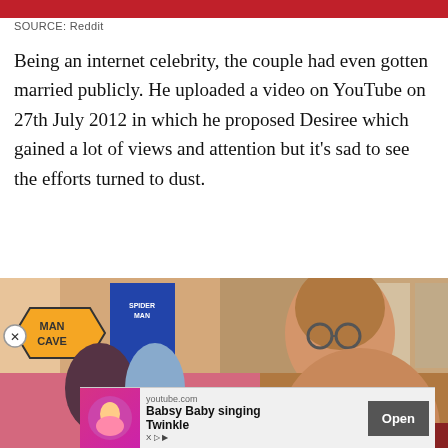SOURCE: Reddit
Being an internet celebrity, the couple had even gotten married publicly. He uploaded a video on YouTube on 27th July 2012 in which he proposed Desiree which gained a lot of views and attention but it's sad to see the efforts turned to dust.
[Figure (photo): Composite image: top half shows a man's room with a 'Man Cave' warning sign, Spider-Man comic book poster, and other posters on the wall. A man with glasses and brown hair is visible on the right side. Bottom left shows a couple at what appears to be a red carpet event with pink flowers, overlaid with a video play button. Bottom shows a YouTube ad banner for 'Babsy Baby singing Twinkle' with an Open button.]